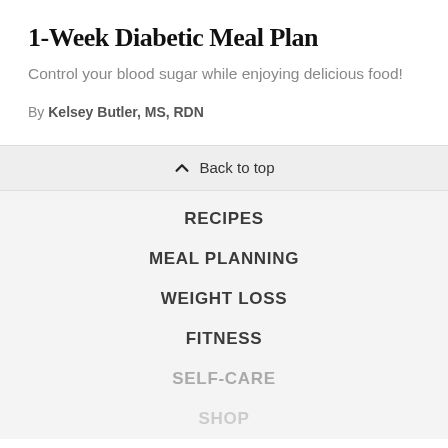1-Week Diabetic Meal Plan
Control your blood sugar while enjoying delicious food!
By Kelsey Butler, MS, RDN
Back to top
RECIPES
MEAL PLANNING
WEIGHT LOSS
FITNESS
SELF-CARE
SHOP